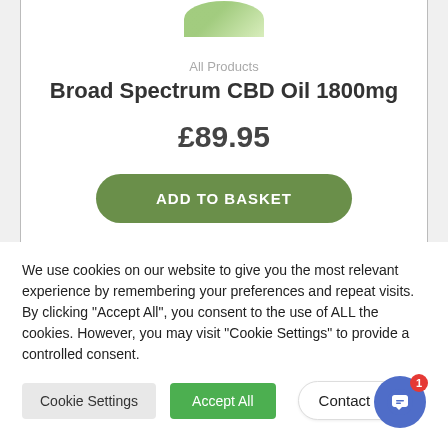[Figure (photo): Partial product image of a CBD oil bottle at the top of a product card]
All Products
Broad Spectrum CBD Oil 1800mg
£89.95
ADD TO BASKET
We use cookies on our website to give you the most relevant experience by remembering your preferences and repeat visits. By clicking "Accept All", you consent to the use of ALL the cookies. However, you may visit "Cookie Settings" to provide a controlled consent.
Cookie Settings
Accept All
Contact us